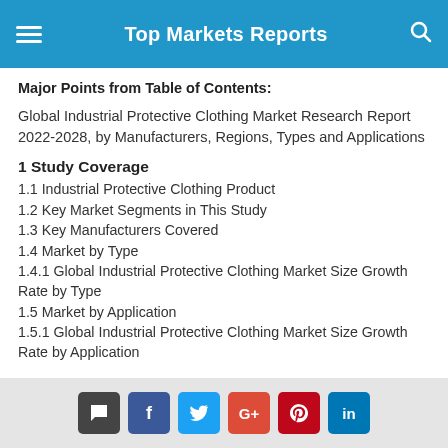Top Markets Reports
Major Points from Table of Contents:
Global Industrial Protective Clothing Market Research Report 2022-2028, by Manufacturers, Regions, Types and Applications
1 Study Coverage
1.1 Industrial Protective Clothing Product
1.2 Key Market Segments in This Study
1.3 Key Manufacturers Covered
1.4 Market by Type
1.4.1 Global Industrial Protective Clothing Market Size Growth Rate by Type
1.5 Market by Application
1.5.1 Global Industrial Protective Clothing Market Size Growth Rate by Application
Social share buttons: chat, facebook, twitter, google+, pinterest, linkedin